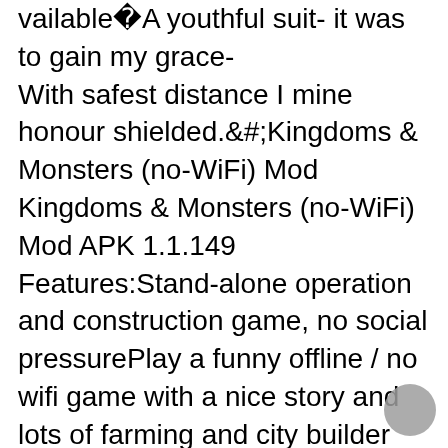vailable�A youthful suit- it was to gain my grace-
With safest distance I mine honour shielded.&#;Kingdoms & Monsters (no-WiFi) Mod Kingdoms & Monsters (no-WiFi) Mod APK 1.1.149 Features:Stand-alone operation and construction game, no social pressurePlay a funny offline / no wifi game with a nice story and lots of farming and city builder fun.Single player, no social pressure, no stress, just easy entertainment but with days and days of new stuff to explore and things to do.What it is about:Kingdoms & Monsters is a free kingdom builder game, combining a funny storyline with a farm like city builder and a lot of resource management.The game gives you a lot of freedom to create your own kingdom. With days and days of offline gameplay fun. Make your townsmen happy and build nice decoration to beautify your town. And all this with no need for a WIFI connection. (The game will need an online connection only once, at the first start, to create your account.)Start building your kingdom today and meet a lot of skewed characters & monsters on a epic journey !Game Description & Features:Find the right strat